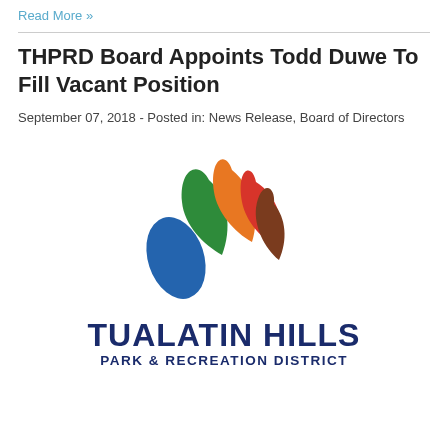Read More »
THPRD Board Appoints Todd Duwe To Fill Vacant Position
September 07, 2018 - Posted in: News Release, Board of Directors
[Figure (logo): Tualatin Hills Park & Recreation District logo with colorful leaf/flame design above bold dark blue text reading TUALATIN HILLS PARK & RECREATION DISTRICT]